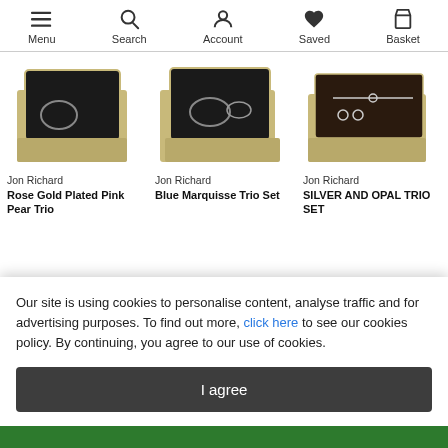Menu | Search | Account | Saved | Basket
[Figure (photo): Jon Richard Rose Gold Plated Pink Pear Trio jewelry set in open box]
[Figure (photo): Jon Richard Blue Marquisse Trio Set jewelry in open box]
[Figure (photo): Jon Richard Silver and Opal Trio Set jewelry in open box]
Jon Richard
Rose Gold Plated Pink Pear Trio
Jon Richard
Blue Marquisse Trio Set
Jon Richard
SILVER AND OPAL TRIO SET
Our site is using cookies to personalise content, analyse traffic and for advertising purposes. To find out more, click here to see our cookies policy. By continuing, you agree to our use of cookies.
I agree